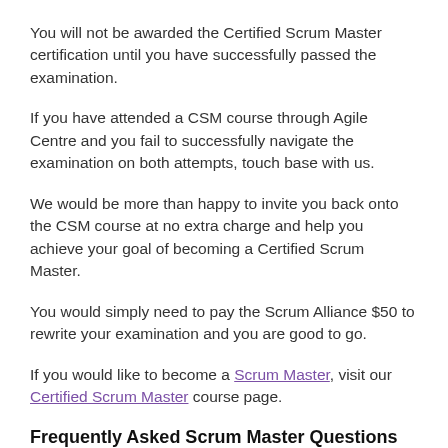You will not be awarded the Certified Scrum Master certification until you have successfully passed the examination.
If you have attended a CSM course through Agile Centre and you fail to successfully navigate the examination on both attempts, touch base with us.
We would be more than happy to invite you back onto the CSM course at no extra charge and help you achieve your goal of becoming a Certified Scrum Master.
You would simply need to pay the Scrum Alliance $50 to rewrite your examination and you are good to go.
If you would like to become a Scrum Master, visit our Certified Scrum Master course page.
Frequently Asked Scrum Master Questions